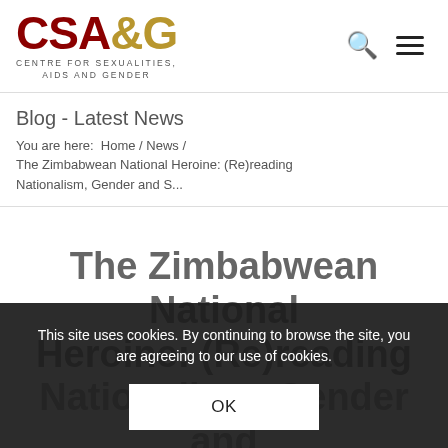CSA&G - CENTRE FOR SEXUALITIES, AIDS AND GENDER
Blog - Latest News
You are here: Home / News / The Zimbabwean National Heroine: (Re)reading Nationalism, Gender and S...
The Zimbabwean National Heroine: (Re)reading Nationalism, Gender and Sexuality
28th June 2022 / by CSAG
This site uses cookies. By continuing to browse the site, you are agreeing to our use of cookies.